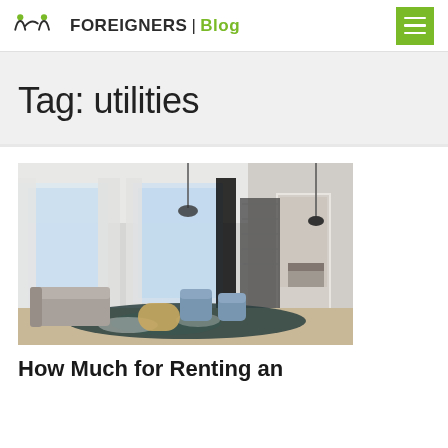FOREIGNERS | Blog
Tag: utilities
[Figure (photo): Modern apartment interior with living room and bedroom visible, featuring large windows, blue chairs, grey sofa, dark patterned rug, and industrial-style shelving]
How Much for Renting an